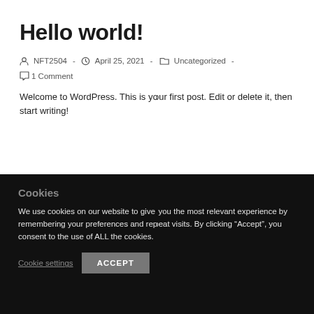Hello world!
Post author: NFT2504  -  Post published: April 25, 2021  -  Post category: Uncategorized  -  Post comments: 1 Comment
Welcome to WordPress. This is your first post. Edit or delete it, then start writing!
Cookies
We use cookies on our website to give you the most relevant experience by remembering your preferences and repeat visits. By clicking “Accept”, you consent to the use of ALL the cookies.
Cookie settings   ACCEPT